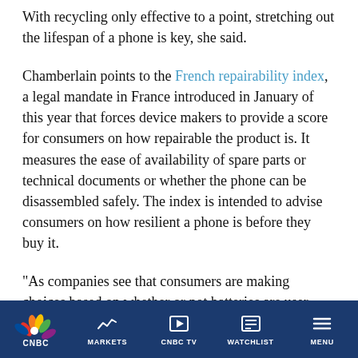With recycling only effective to a point, stretching out the lifespan of a phone is key, she said.
Chamberlain points to the French repairability index, a legal mandate in France introduced in January of this year that forces device makers to provide a score for consumers on how repairable the product is. It measures the ease of availability of spare parts or technical documents or whether the phone can be disassembled safely. The index is intended to advise consumers on how resilient a phone is before they buy it.
“As companies see that consumers are making choices based on whether or not batteries are user replaceable, they’re more likely to make those changes,” Chamberlain said.
The French index is still new, so measuring its effects aren’t yet possible but Spain has drawn up plans
CNBC | MARKETS | CNBC TV | WATCHLIST | MENU